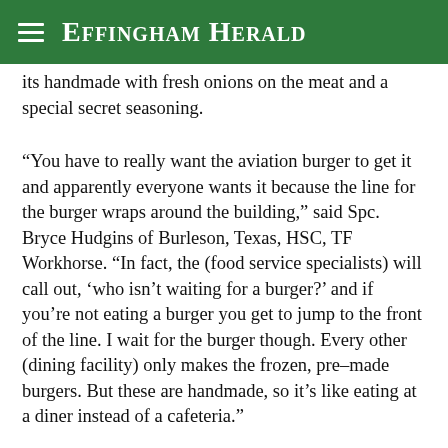Effingham Herald
its handmade with fresh onions on the meat and a special secret seasoning.
“You have to really want the aviation burger to get it and apparently everyone wants it because the line for the burger wraps around the building,” said Spc. Bryce Hudgins of Burleson, Texas, HSC, TF Workhorse. “In fact, the (food service specialists) will call out, ‘who isn’t waiting for a burger?’ and if you’re not eating a burger you get to jump to the front of the line. I wait for the burger though. Every other (dining facility) only makes the frozen, pre-made burgers. But these are handmade, so it’s like eating at a diner instead of a cafeteria.”
The Falcon Cafe also provides specialty meals including